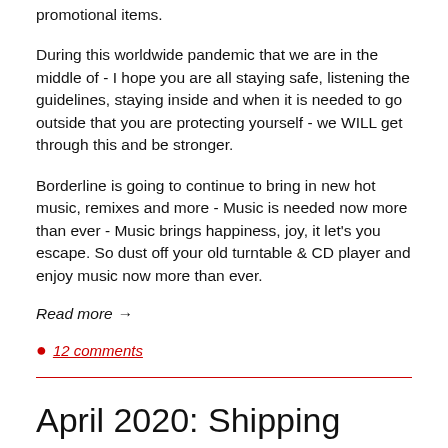promotional items.
During this worldwide pandemic that we are in the middle of - I hope you are all staying safe, listening the guidelines, staying inside and when it is needed to go outside that you are protecting yourself - we WILL get through this and be stronger.
Borderline is going to continue to bring in new hot music, remixes and more - Music is needed now more than ever - Music brings happiness, joy, it let's you escape.  So dust off your old turntable & CD player and enjoy music now more than ever.
Read more →
12 comments
April 2020: Shipping Update & New releases.